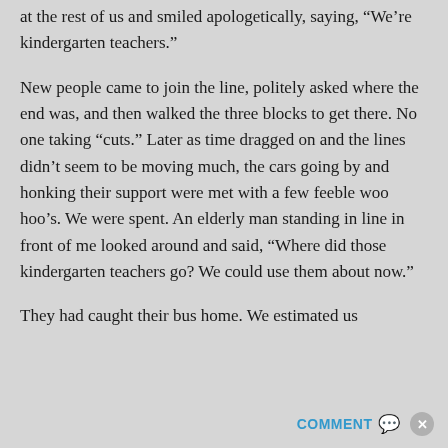at the rest of us and smiled apologetically, saying, “We’re kindergarten teachers.”
New people came to join the line, politely asked where the end was, and then walked the three blocks to get there. No one taking “cuts.” Later as time dragged on and the lines didn’t seem to be moving much, the cars going by and honking their support were met with a few feeble woo hoo’s. We were spent. An elderly man standing in line in front of me looked around and said, “Where did those kindergarten teachers go? We could use them about now.”
They had caught their bus home. We estimated us
COMMENT ✕